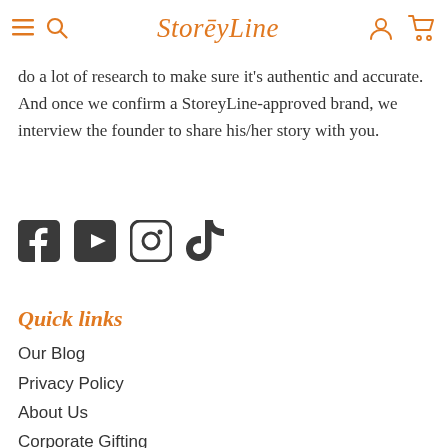StoreyLine
do a lot of research to make sure it's authentic and accurate. And once we confirm a StoreyLine-approved brand, we interview the founder to share his/her story with you.
[Figure (other): Social media icons: Facebook, YouTube, Instagram, TikTok]
Quick links
Our Blog
Privacy Policy
About Us
Corporate Gifting
Sell on StoreyLine